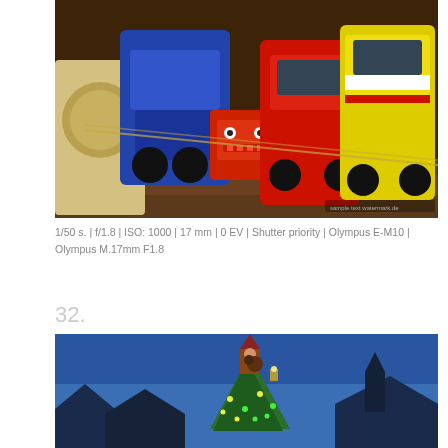[Figure (photo): Colorful tin toy cars and a red robot figurine displayed on a shelf, including blue, red, and yellow vintage car tins.]
1/50 s. | f/1.8 | ISO: 1000 | 17 mm | 0 EV | Shutter priority | Olympus E-M10 | Olympus M.17mm F1.8
32.
[Figure (photo): Christmas scene with a decorated tree bearing lights, a gnome/elf figure on top, against a blue dusk sky with building silhouettes.]